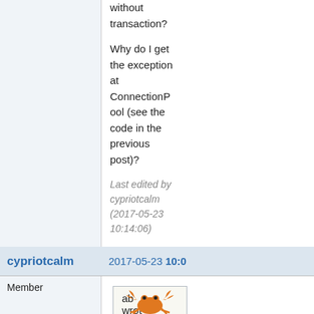without transaction?
Why do I get the exception at ConnectionPool (see the code in the previous post)?
Last edited by cypriotcalm (2017-05-23 10:14:06)
Offline
cypriotcalm
2017-05-23 10:0
Member
ab wrot